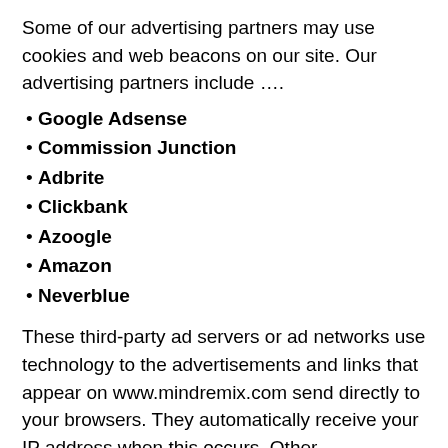Some of our advertising partners may use cookies and web beacons on our site. Our advertising partners include ….
Google Adsense
Commission Junction
Adbrite
Clickbank
Azoogle
Amazon
Neverblue
These third-party ad servers or ad networks use technology to the advertisements and links that appear on www.mindremix.com send directly to your browsers. They automatically receive your IP address when this occurs. Other technologies (such as cookies, JavaScript, or Web Beacons) may also be used by the third-party ad